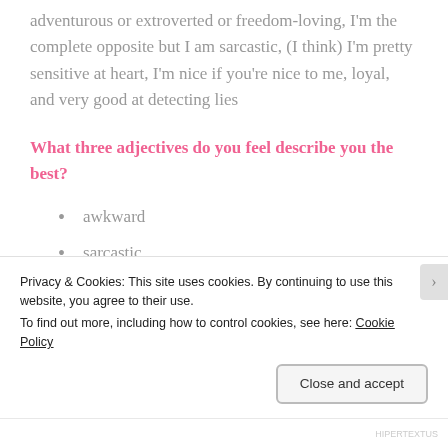adventurous or extroverted or freedom-loving, I'm the complete opposite but I am sarcastic, (I think) I'm pretty sensitive at heart, I'm nice if you're nice to me, loyal, and very good at detecting lies
What three adjectives do you feel describe you the best?
awkward
sarcastic
tea (it counts, 60% of all human bodies is water, 60% of my body is tea)
Privacy & Cookies: This site uses cookies. By continuing to use this website, you agree to their use.
To find out more, including how to control cookies, see here: Cookie Policy
HIPERTEXTUS